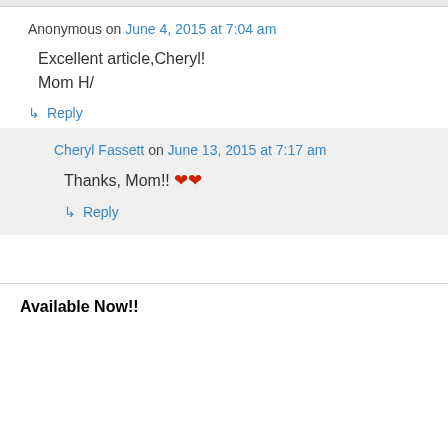Anonymous on June 4, 2015 at 7:04 am
Excellent article,Cheryl!
Mom H/
↳ Reply
Cheryl Fassett on June 13, 2015 at 7:17 am
Thanks, Mom!! ❤❤
↳ Reply
Available Now!!